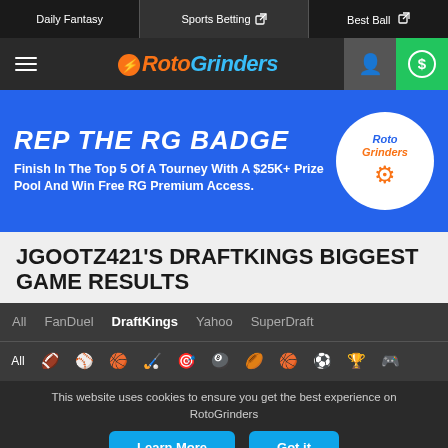Daily Fantasy | Sports Betting | Best Ball
[Figure (logo): RotoGrinders logo with hamburger menu, user icon, and dollar sign button]
[Figure (infographic): REP THE RG BADGE banner - Finish In The Top 5 Of A Tourney With A $25K+ Prize Pool And Win Free RG Premium Access. RotoGrinders badge logo on the right.]
JGOOTZ421'S DRAFTKINGS BIGGEST GAME RESULTS
All | FanDuel | DraftKings | Yahoo | SuperDraft
All [sport icons row]
This website uses cookies to ensure you get the best experience on RotoGrinders